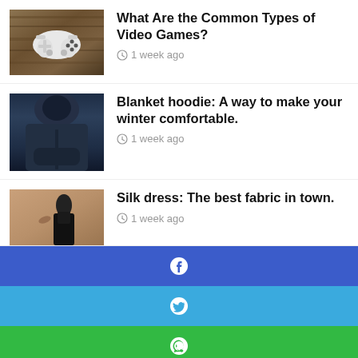[Figure (photo): White video game controller on dark wooden background]
What Are the Common Types of Video Games?
1 week ago
[Figure (photo): Person wearing dark navy blanket hoodie]
Blanket hoodie: A way to make your winter comfortable.
1 week ago
[Figure (photo): Person wearing black silk dress]
Silk dress: The best fabric in town.
1 week ago
[Figure (infographic): Social media share buttons: Facebook, Twitter, WhatsApp, Telegram, Phone]